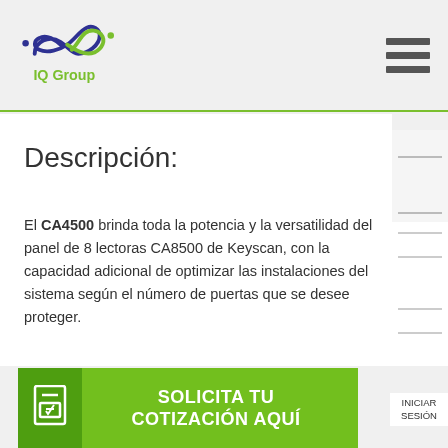IQ Group
Descripción:
El CA4500 brinda toda la potencia y la versatilidad del panel de 8 lectoras CA8500 de Keyscan, con la capacidad adicional de optimizar las instalaciones del sistema según el número de puertas que se desee proteger.
Código: CA4500
SOLICITA TU COTIZACIÓN AQUÍ
INICIAR SESIÓN